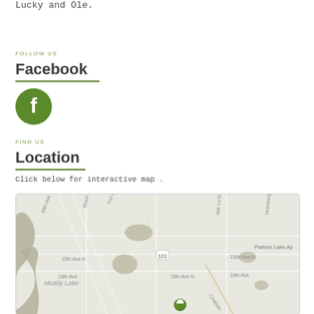Lucky and Ole.
FOLLOW US
Facebook
[Figure (logo): Green circular Facebook logo icon with white 'f' letter in center]
FIND US
Location
Click below for interactive map .
[Figure (map): Google Maps style map showing area around Parkers Lake, including roads like 25th Ave N, 19th Ave N, Wiir Ln N, Vicksburg Ln N, 220d Ave N, with a green location pin marker and water/lake areas shown in grey]